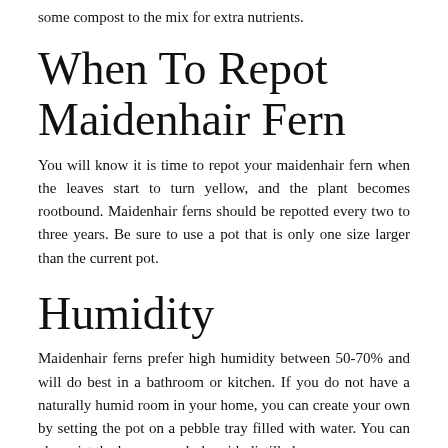some compost to the mix for extra nutrients.
When To Repot Maidenhair Fern
You will know it is time to repot your maidenhair fern when the leaves start to turn yellow, and the plant becomes rootbound. Maidenhair ferns should be repotted every two to three years. Be sure to use a pot that is only one size larger than the current pot.
Humidity
Maidenhair ferns prefer high humidity between 50-70% and will do best in a bathroom or kitchen. If you do not have a naturally humid room in your home, you can create your own by setting the pot on a pebble tray filled with water. You can also mist the leaves regularly with distilled